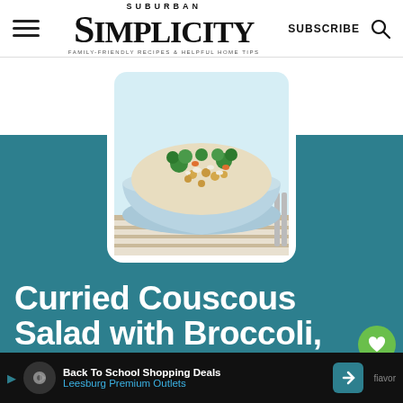SUBURBAN SIMPLICITY — FAMILY-FRIENDLY RECIPES & HELPFUL HOME TIPS
[Figure (photo): A light blue ceramic bowl filled with curried couscous salad containing broccoli, chickpeas, and feta, placed on a striped cloth napkin]
Curried Couscous Salad with Broccoli, Chickpeas, and Feta
Curried Couscous Salad with Broccoli,
Back To School Shopping Deals — Leesburg Premium Outlets